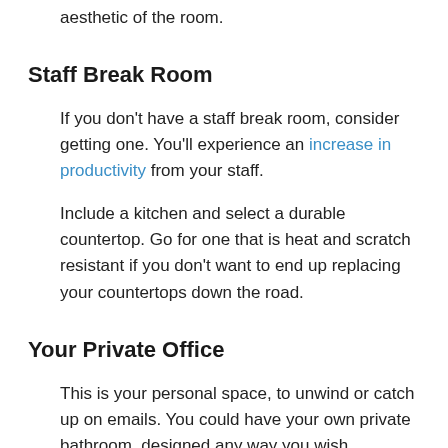comfortable. Select a countertop that is moisture resistant but complements the serene aesthetic of the room.
Staff Break Room
If you don't have a staff break room, consider getting one. You'll experience an increase in productivity from your staff.
Include a kitchen and select a durable countertop. Go for one that is heat and scratch resistant if you don't want to end up replacing your countertops down the road.
Your Private Office
This is your personal space, to unwind or catch up on emails. You could have your own private bathroom, designed any way you wish.
Your desk can be traditional wood, or you can have a custom counter built in.